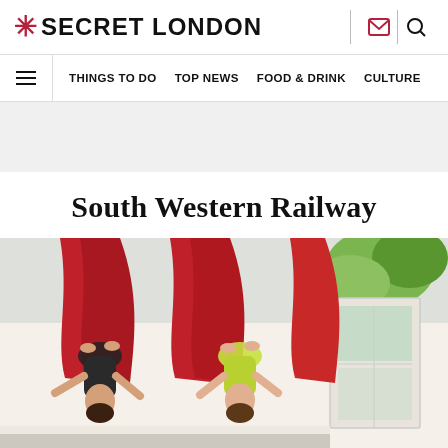* SECRET LONDON
THINGS TO DO  TOP NEWS  FOOD & DRINK  CULTURE
[Figure (other): Advertisement banner area, light grey background]
South Western Railway
[Figure (photo): Two people doing aerial yoga, hanging upside down from red fabric hammocks in a bright studio with windows and green foliage visible outside. One person wears a black outfit, the other a yellow/green outfit.]